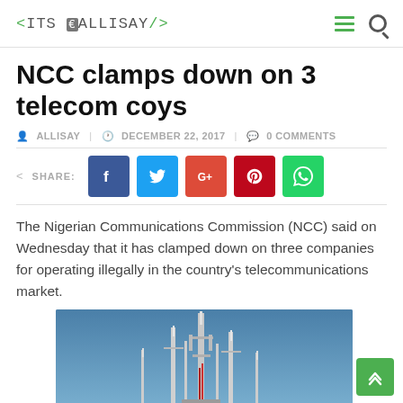<ITS ALLISAY/>
NCC clamps down on 3 telecom coys
ALLISAY   DECEMBER 22, 2017   0 COMMENTS
SHARE:
The Nigerian Communications Commission (NCC) said on Wednesday that it has clamped down on three companies for operating illegally in the country's telecommunications market.
[Figure (photo): Telecommunication tower with multiple antennas against a blue sky]